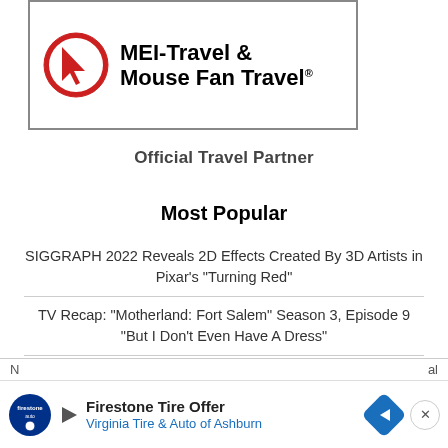[Figure (logo): MEI-Travel & Mouse Fan Travel logo with red circle containing a cursor arrow icon, bold black text]
Official Travel Partner
Most Popular
SIGGRAPH 2022 Reveals 2D Effects Created By 3D Artists in Pixar's "Turning Red"
TV Recap: "Motherland: Fort Salem" Season 3, Episode 9 "But I Don't Even Have A Dress"
Blockout Dates Broken Down for Each Disneyland Magic Key
Funko Reveals Charming Collection of D23 Expo 2022
[Figure (infographic): Firestone Tire Offer advertisement banner: Virginia Tire & Auto of Ashburn with Firestone auto logo and blue navigation arrow icon]